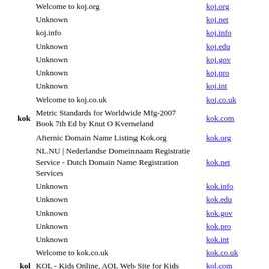Welcome to koj.org | koj.org
Unknown | koj.net
koj.info | koj.info
Unknown | koj.edu
Unknown | koj.gov
Unknown | koj.pro
Unknown | koj.int
Welcome to koj.co.uk | koj.co.uk
kok | Metric Standards for Worldwide Mfg-2007 Book 7th Ed by Knut O Kverneland | kok.com
Afternic Domain Name Listing Kok.org | kok.org
NL.NU | Nederlandse Domeinnaam Registratie Service - Dutch Domain Name Registration Services | kok.net
Unknown | kok.info
Unknown | kok.edu
Unknown | kok.gov
Unknown | kok.pro
Unknown | kok.int
Welcome to kok.co.uk | kok.co.uk
kol | KOL - Kids Online, AOL Web Site for Kids | kol.com